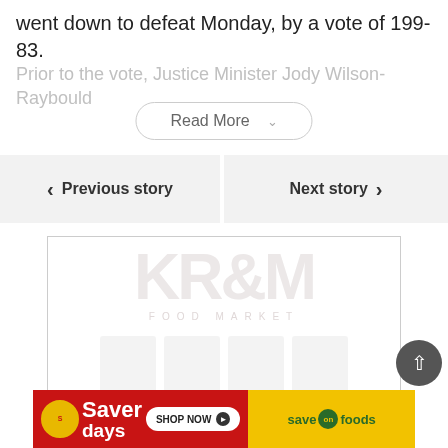went down to defeat Monday, by a vote of 199-83.
Prior to the vote, Justice Minister Jody Wilson-Raybould
Read More
Previous story
Next story
[Figure (logo): Krem Food Market logo watermark, faded, with product images below]
[Figure (logo): Save On Foods Saver Days advertisement banner — red left half with Saver Days text and Shop Now button, yellow right half with Save On Foods logo]